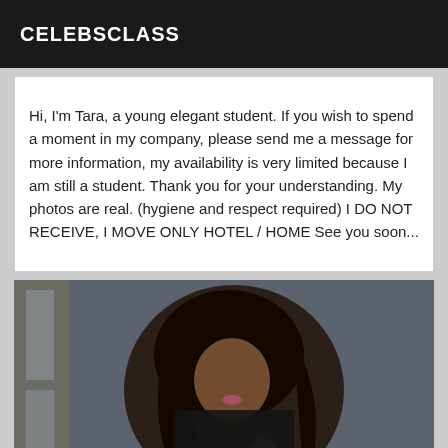CELEBSCLASS
Hi, I'm Tara, a young elegant student. If you wish to spend a moment in my company, please send me a message for more information, my availability is very limited because I am still a student. Thank you for your understanding. My photos are real. (hygiene and respect required) I DO NOT RECEIVE, I MOVE ONLY HOTEL / HOME See you soon...
[Figure (photo): A young woman with long dark hair wearing a dark fishnet outfit, posed seated against a concrete wall background near a window]